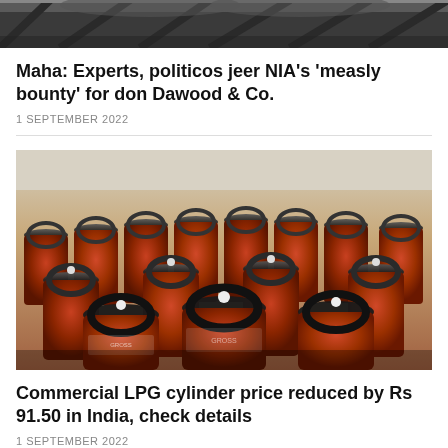[Figure (photo): Top portion of a news article image, showing a person in dark clothing, cropped at the bottom of frame.]
Maha: Experts, politicos jeer NIA’s ‘measly bounty’ for don Dawood & Co.
1 SEPTEMBER 2022
[Figure (photo): Large photo of many red LPG/gas cylinders arranged in rows, photographed from a low angle showing the circular valve rings on top.]
Commercial LPG cylinder price reduced by Rs 91.50 in India, check details
1 SEPTEMBER 2022